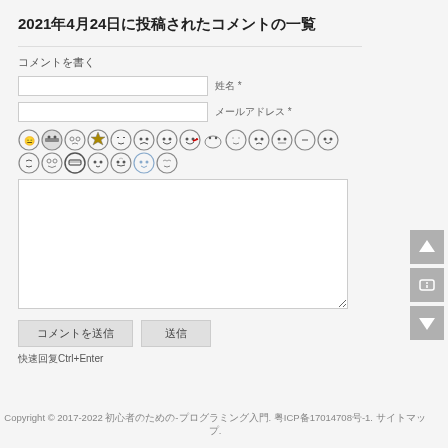2021年4月24日に投稿されたコメントの一覧
コメントを書く
姓名 *
メールアドレス *
[Figure (illustration): Emoji/emoticon icon palette with two rows of cartoon face icons]
(text area for comment input)
コメントを送信  送信
快速回复Ctrl+Enter
Copyright © 2017-2022 初心者のための-プログラミング入門. 粤ICP备17014708号-1. サイトマップ.